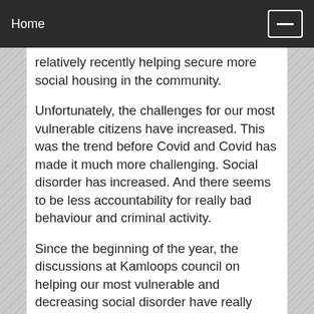Home
relatively recently helping secure more social housing in the community.
Unfortunately, the challenges for our most vulnerable citizens have increased. This was the trend before Covid and Covid has made it much more challenging. Social disorder has increased. And there seems to be less accountability for really bad behaviour and criminal activity.
Since the beginning of the year, the discussions at Kamloops council on helping our most vulnerable and decreasing social disorder have really